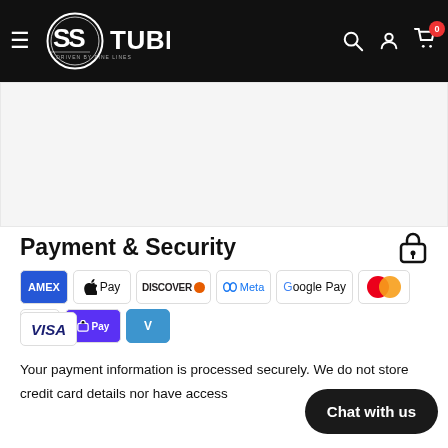SS Tubes — Driven by Fine Lines
[Figure (logo): SS Tubes logo — circular logo with SS in stylized font and TUBES text, DRIVEN BY FINE LINES tagline, white on black header]
Ask a Question
Payment & Security
[Figure (infographic): Payment method icons: Amex, Apple Pay, Discover, Meta Pay, Google Pay, Mastercard, PayPal, Shop Pay, Venmo, Visa]
Your payment information is processed securely. We do not store credit card details nor have access to your credit card information.